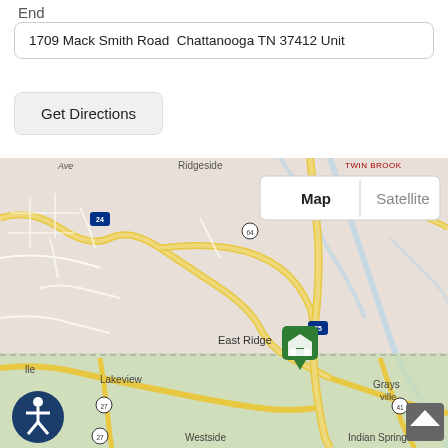End
1709 Mack Smith Road  Chattanooga TN 37412 Unit
Get Directions
[Figure (map): Google Maps view showing Chattanooga TN area including East Ridge, Ridgeside, Lakeview, Westside, Indian Springs, and Graysville. Shows highways I-24, I-75, Route 64, Route 320, Route 27, and Route 41. A green destination pin marker is visible near East Ridge on I-75. Map/Satellite toggle buttons are visible in upper right. Accessibility icon and scroll-up button visible in lower corners.]